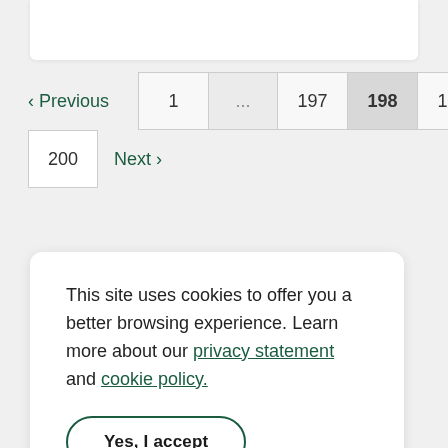[Figure (screenshot): Top portion of a white card/panel from a web page, partially cropped at the top edge.]
< Previous   1   ...   197   198   199   200   Next >
This site uses cookies to offer you a better browsing experience. Learn more about our privacy statement and cookie policy.
Yes, I accept